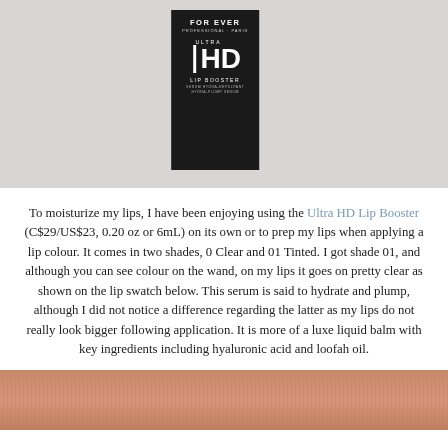[Figure (photo): Product photo of Make Up For Ever Ultra HD Lip Booster box in black packaging, shown on a light grey background. The box displays 'FOR EVER', 'PROFESSIONAL PARIS', 'ULTRA HD', 'LIP BOOSTER', 'SERUM HYDRA-REPULPANT', 'HYDRA-PLUMP SERUM'.]
To moisturize my lips, I have been enjoying using the Ultra HD Lip Booster (C$29/US$23, 0.20 oz or 6mL) on its own or to prep my lips when applying a lip colour. It comes in two shades, 0 Clear and 01 Tinted. I got shade 01, and although you can see colour on the wand, on my lips it goes on pretty clear as shown on the lip swatch below. This serum is said to hydrate and plump, although I did not notice a difference regarding the latter as my lips do not really look bigger following application. It is more of a luxe liquid balm with key ingredients including hyaluronic acid and loofah oil.
[Figure (photo): Close-up photo of lips showing a lip swatch of the Ultra HD Lip Booster shade 01 Tinted applied, appearing mostly clear on the lips with a warm skin tone visible.]